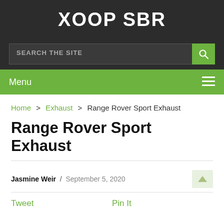XOOP SBR
SEARCH THE SITE
Menu
Home > Exhaust > Range Rover Sport Exhaust
Range Rover Sport Exhaust
Jasmine Weir / September 5, 2020
Tweet   Pin It